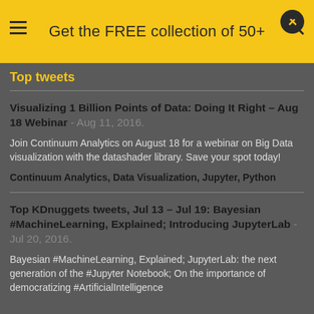Get the FREE collection of 50+
Top tweets
Visualizing 1 Billion Points of Data: Doing It Right – Aug 18 Webinar - Aug 11, 2016.
Join Continuum Analytics on August 18 for a webinar on Big Data visualization with the datashader library. Save your spot today!
Continuum Analytics, Data Visualization, Jupyter, Python
Top KDnuggets tweets, Jul 13 – Jul 19: Bayesian #MachineLearning, Explained; Introducing JupyterLab - Jul 20, 2016.
Bayesian #MachineLearning, Explained; JupyterLab: the next generation of the #Jupyter Notebook; On the importance of democratizing #ArtificialIntelligence